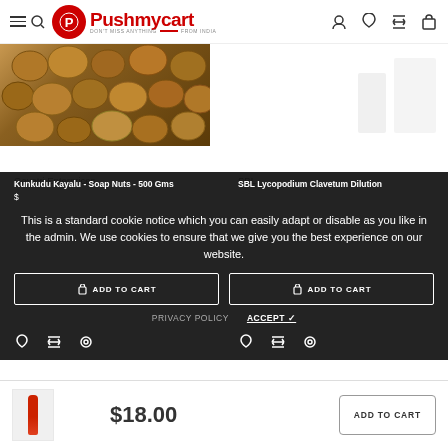Pushmycart — DON'T MISS ANYTHING FROM INDIA
[Figure (photo): Two product images: left shows soap nuts (brown round nuts), right shows SBL product bottles partially visible]
Gayatri Enterprices
SBL
Kunkudu Kayalu - Soap Nuts - 500 Gms
SBL Lycopodium Clavetum Dilution
This is a standard cookie notice which you can easily adapt or disable as you like in the admin. We use cookies to ensure that we give you the best experience on our website.
ADD TO CART
ADD TO CART
PRIVACY POLICY
ACCEPT ✓
$18.00
ADD TO CART